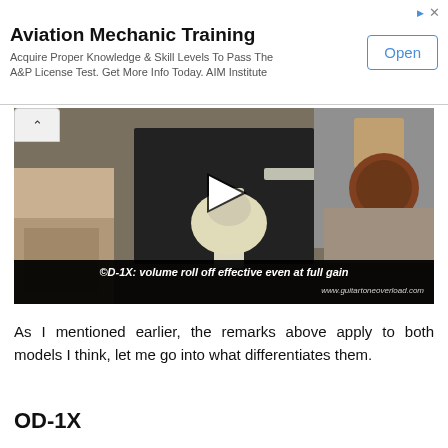[Figure (infographic): Advertisement banner for Aviation Mechanic Training by AIM Institute with an Open button]
Aviation Mechanic Training
Acquire Proper Knowledge & Skill Levels To Pass The A&P License Test. Get More Info Today. AIM Institute
[Figure (screenshot): Video thumbnail showing a person playing an electric guitar in a room, with play button overlay. Caption: OD-1X: volume roll off effective even at full gain. URL: www.guitartoneoverload.com]
As I mentioned earlier, the remarks above apply to both models I think, let me go into what differentiates them.
OD-1X